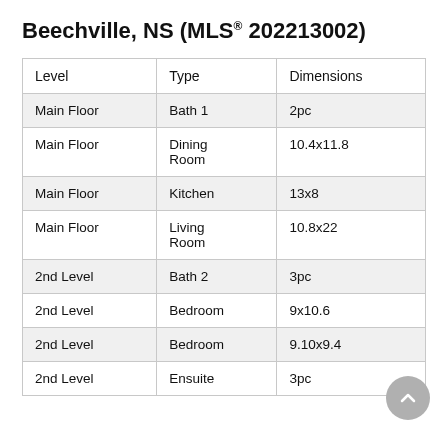Beechville, NS (MLS® 202213002)
| Level | Type | Dimensions |
| --- | --- | --- |
| Main Floor | Bath 1 | 2pc |
| Main Floor | Dining Room | 10.4x11.8 |
| Main Floor | Kitchen | 13x8 |
| Main Floor | Living Room | 10.8x22 |
| 2nd Level | Bath 2 | 3pc |
| 2nd Level | Bedroom | 9x10.6 |
| 2nd Level | Bedroom | 9.10x9.4 |
| 2nd Level | Ensuite | 3pc |